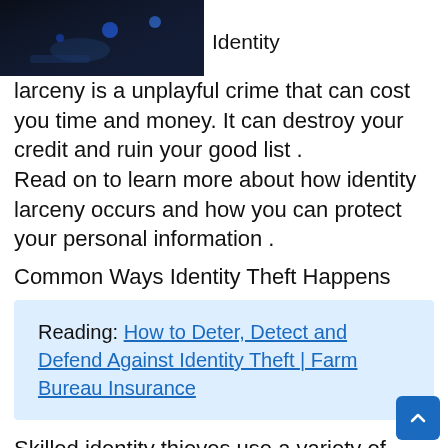[Figure (photo): Dark photograph showing hands with blue glowing elements, suggesting digital/hacking context]
Identity larceny is a unplayful crime that can cost you time and money. It can destroy your credit and ruin your good list .
Read on to learn more about how identity larceny occurs and how you can protect your personal information .
Common Ways Identity Theft Happens
Reading: How to Deter, Detect and Defend Against Identity Theft | Farm Bureau Insurance
Skilled identity thieves use a variety of methods to steal your personal information, including :